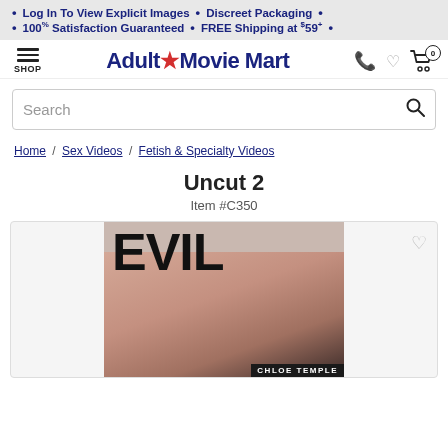Log In To View Explicit Images • Discreet Packaging • 100% Satisfaction Guaranteed • FREE Shipping at $59+
[Figure (logo): Adult Movie Mart logo with red star]
Search
Home / Sex Videos / Fetish & Specialty Videos
Uncut 2
Item #C350
[Figure (photo): Product cover image showing EVIL text with Chloe Temple label]